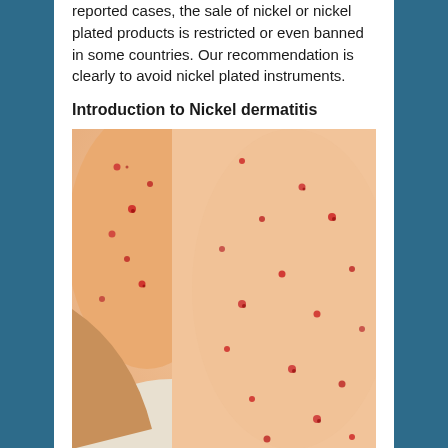reported cases, the sale of nickel or nickel plated products is restricted or even banned in some countries. Our recommendation is clearly to avoid nickel plated instruments.
Introduction to Nickel dermatitis
[Figure (photo): Close-up photograph of human skin (arm/shoulder area) showing nickel dermatitis — numerous small red raised spots/bumps scattered across pale skin, characteristic of contact allergic dermatitis reaction to nickel.]